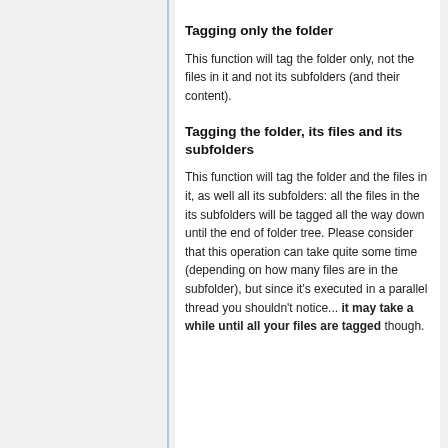Tagging only the folder
This function will tag the folder only, not the files in it and not its subfolders (and their content).
Tagging the folder, its files and its subfolders
This function will tag the folder and the files in it, as well all its subfolders: all the files in the its subfolders will be tagged all the way down until the end of folder tree. Please consider that this operation can take quite some time (depending on how many files are in the subfolder), but since it's executed in a parallel thread you shouldn't notice... it may take a while until all your files are tagged though.